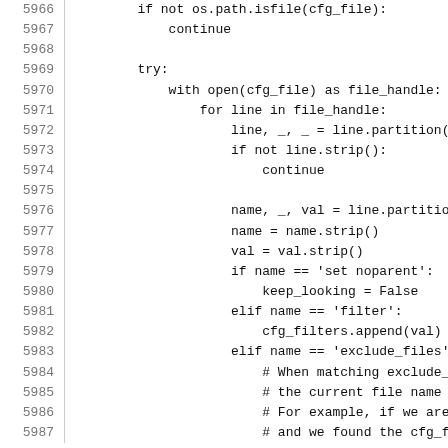Code listing lines 5966-5987: Python source code showing file parsing logic with os.path.isfile check, try block with open(cfg_file), line partitioning, and cfg_filters handling.